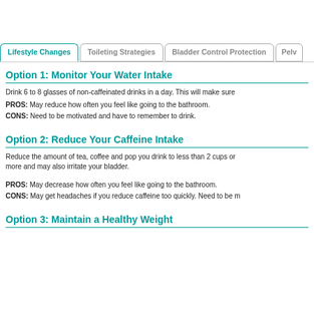Option 1: Monitor Your Water Intake
Drink 6 to 8 glasses of non-caffeinated drinks in a day. This will make sure
PROS: May reduce how often you feel like going to the bathroom.
CONS: Need to be motivated and have to remember to drink.
Option 2: Reduce Your Caffeine Intake
Reduce the amount of tea, coffee and pop you drink to less than 2 cups or more and may also irritate your bladder.
PROS: May decrease how often you feel like going to the bathroom.
CONS: May get headaches if you reduce caffeine too quickly. Need to be m
Option 3: Maintain a Healthy Weight